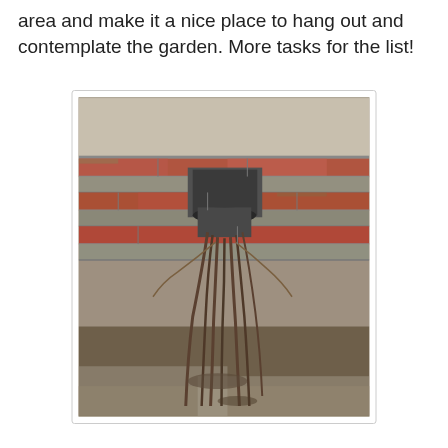area and make it a nice place to hang out and contemplate the garden. More tasks for the list!
[Figure (photo): A downspout or drain pipe emerging from a brick wall, with roots growing out of it downward into soil and concrete below.]